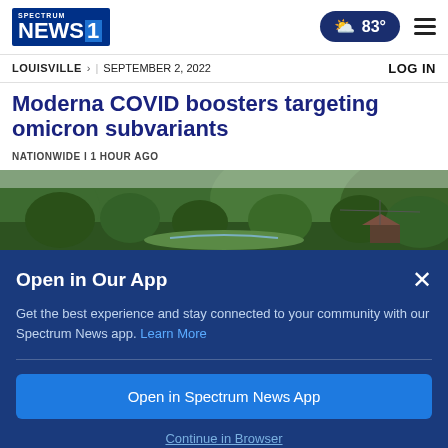Spectrum NEWS1 | 83°
LOUISVILLE > | SEPTEMBER 2, 2022   LOG IN
Moderna COVID boosters targeting omicron subvariants
NATIONWIDE | 1 HOUR AGO
[Figure (photo): Panoramic view of a green forested mountain valley with a river and a small building]
Open in Our App
Get the best experience and stay connected to your community with our Spectrum News app. Learn More
Open in Spectrum News App
Continue in Browser